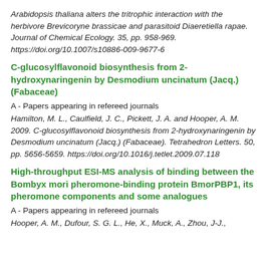Arabidopsis thaliana alters the tritrophic interaction with the herbivore Brevicoryne brassicae and parasitoid Diaeretiella rapae. Journal of Chemical Ecology. 35, pp. 958-969. https://doi.org/10.1007/s10886-009-9677-6
C-glucosylflavonoid biosynthesis from 2-hydroxynaringenin by Desmodium uncinatum (Jacq.) (Fabaceae)
A - Papers appearing in refereed journals
Hamilton, M. L., Caulfield, J. C., Pickett, J. A. and Hooper, A. M. 2009. C-glucosylflavonoid biosynthesis from 2-hydroxynaringenin by Desmodium uncinatum (Jacq.) (Fabaceae). Tetrahedron Letters. 50, pp. 5656-5659. https://doi.org/10.1016/j.tetlet.2009.07.118
High-throughput ESI-MS analysis of binding between the Bombyx mori pheromone-binding protein BmorPBP1, its pheromone components and some analogues
A - Papers appearing in refereed journals
Hooper, A. M., Dufour, S. G. L., He, X., Muck, A., Zhou, J-J.,